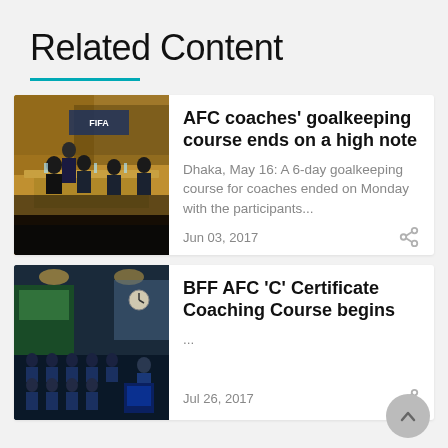Related Content
[Figure (photo): Indoor meeting room with people seated at tables, a person standing near a FIFA banner, taken from the back of the room]
AFC coaches' goalkeeping course ends on a high note
Dhaka, May 16: A 6-day goalkeeping course for coaches ended on Monday with the participants...
Jun 03, 2017
[Figure (photo): Indoor training room with rows of people in blue uniforms, a presenter at the front, a clock on the wall and green boards in the background]
BFF AFC 'C' Certificate Coaching Course begins
...
Jul 26, 2017